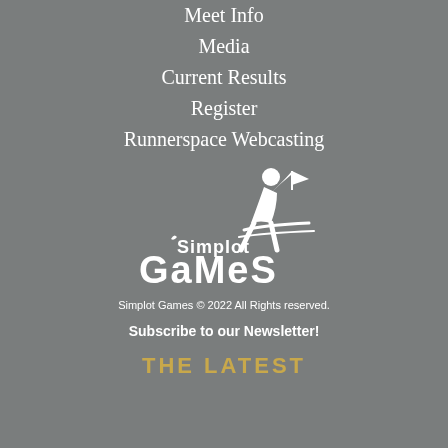Meet Info
Media
Current Results
Register
Runnerspace Webcasting
[Figure (logo): Simplot Games logo with a runner holding a flag and the text 'Simplot Games']
Simplot Games © 2022 All Rights reserved.
Subscribe to our Newsletter!
THE LATEST